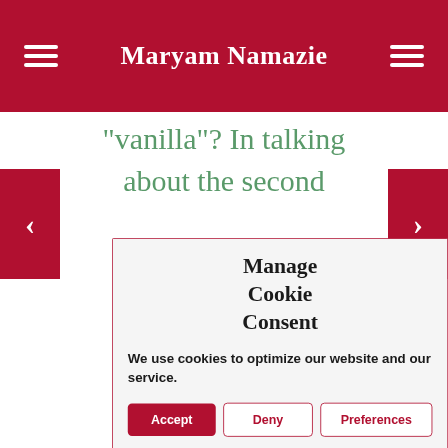Maryam Namazie
"vanilla"? In talking about the second
[Figure (screenshot): Cookie consent modal dialog with title 'Manage Cookie Consent', body text 'We use cookies to optimize our website and our service.', and three buttons: Accept, Deny, Preferences]
never reach the hundreds of millions as you were